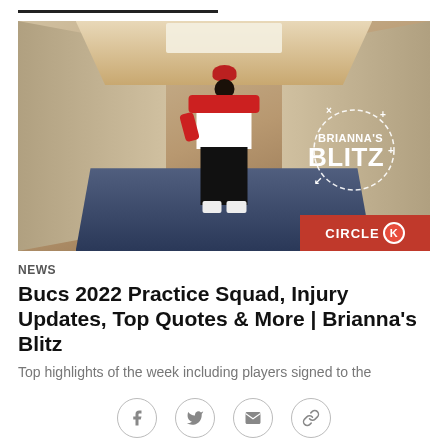[Figure (photo): Football player wearing jersey #83 walking through a hallway/tunnel, with Brianna's Blitz logo overlay and Circle K sponsor box in bottom right]
NEWS
Bucs 2022 Practice Squad, Injury Updates, Top Quotes & More | Brianna's Blitz
Top highlights of the week including players signed to the